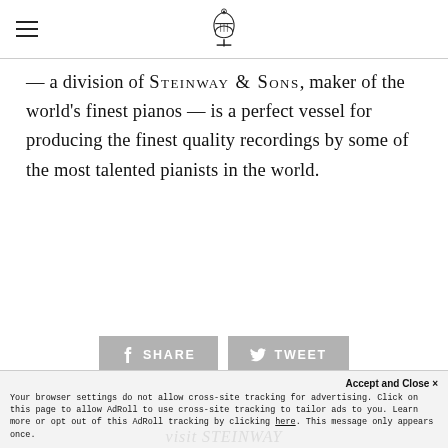[Steinway logo / lyre emblem]
— a division of STEINWAY & SONS, maker of the world's finest pianos — is a perfect vessel for producing the finest quality recordings by some of the most talented pianists in the world.
[Figure (other): Share and Tweet social media buttons (grey rectangles with icons and text SHARE and TWEET)]
Accept and Close ×
Your browser settings do not allow cross-site tracking for advertising. Click on this page to allow AdRoll to use cross-site tracking to tailor ads to you. Learn more or opt out of this AdRoll tracking by clicking here. This message only appears once.